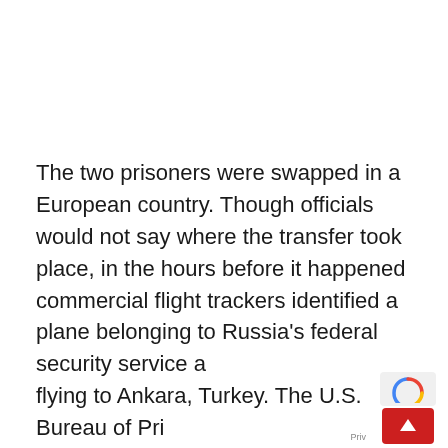The two prisoners were swapped in a European country. Though officials would not say where the transfer took place, in the hours before it happened commercial flight trackers identified a plane belonging to Russia's federal security service a… flying to Ankara, Turkey. The U.S. Bureau of Pri…